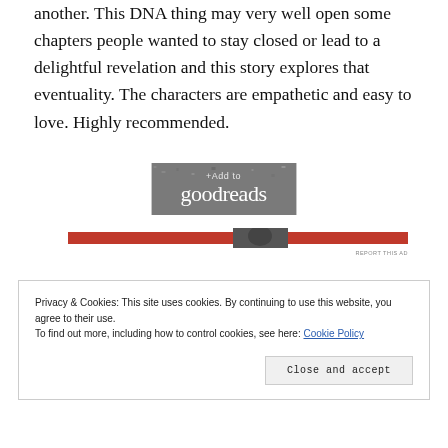another. This DNA thing may very well open some chapters people wanted to stay closed or lead to a delightful revelation and this story explores that eventuality. The characters are empathetic and easy to love. Highly recommended.
[Figure (other): Goodreads '+Add to goodreads' button image in grayscale]
[Figure (other): Advertisement bar with red background and dark overlay, with 'REPORT THIS AD' label]
Privacy & Cookies: This site uses cookies. By continuing to use this website, you agree to their use.
To find out more, including how to control cookies, see here: Cookie Policy
Close and accept